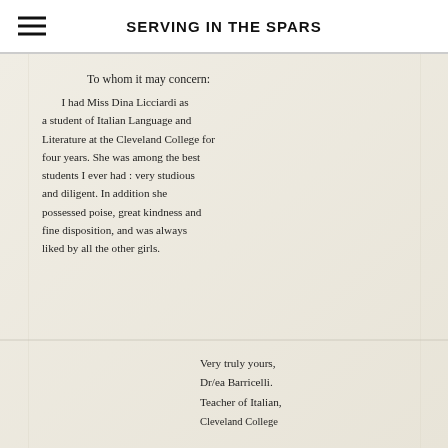SERVING IN THE SPARS
[Figure (photo): Handwritten letter on aged paper. Text reads: 'To whom it may concern: I had Miss Dina Licciardi as a student of Italian Language and Literature at the Cleveland College for four years. She was among the best students I ever had: very studious and diligent. In addition she possessed poise, great kindness and fine disposition, and was always liked by all the other girls. Very truly yours, Dr/ea Barricelli. Teacher of Italian, [Cleveland College]']